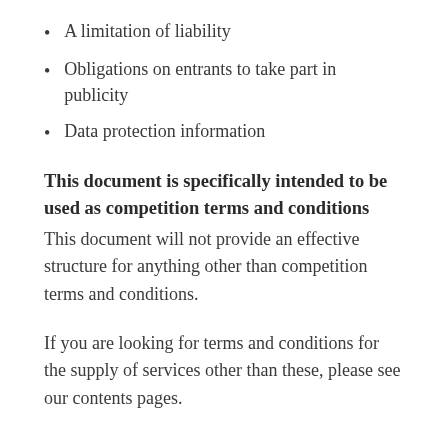A limitation of liability
Obligations on entrants to take part in publicity
Data protection information
This document is specifically intended to be used as competition terms and conditions
This document will not provide an effective structure for anything other than competition terms and conditions.
If you are looking for terms and conditions for the supply of services other than these, please see our contents pages.